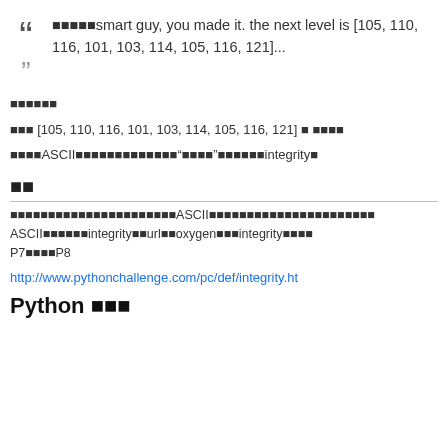■■■■■smart guy, you made it. the next level is [105, 110, 116, 101, 103, 114, 105, 116, 121]...
■■■■■■
■■■ [105, 110, 116, 101, 103, 114, 105, 116, 121] ■ ■■■■
■■■■ASCII■■■■■■■■■■■■■“■■■■”■■■■■■integrity■
■■
■■■■■■■■■■■■■■■■■■■■■■ASCII■■■■■■■■■■■■■■■■■■■■■■ ASCII■■■■■■integrity■■url■■oxygen■■■integrity■■■■■ P7■■■■P8
http://www.pythonchallenge.com/pc/def/integrity.ht
Python ■■■